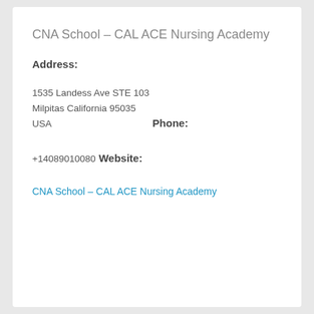CNA School – CAL ACE Nursing Academy
Address:
1535 Landess Ave STE 103
Milpitas California 95035
USA
Phone:
+14089010080
Website:
CNA School – CAL ACE Nursing Academy